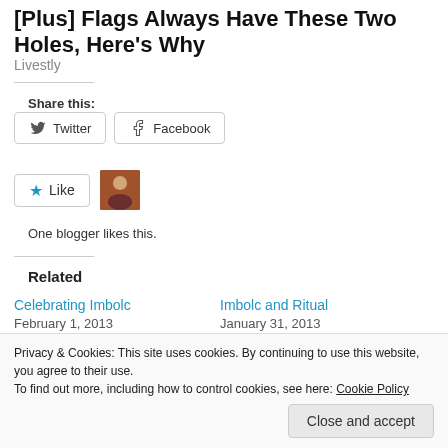[Plus] Flags Always Have These Two Holes, Here's Why
Livestly
Share this:
Twitter  Facebook
[Figure (illustration): Like button with blue star icon and a blogger avatar thumbnail]
One blogger likes this.
Related
Celebrating Imbolc
February 1, 2013
Imbolc and Ritual
January 31, 2013
Privacy & Cookies: This site uses cookies. By continuing to use this website, you agree to their use.
To find out more, including how to control cookies, see here: Cookie Policy
Close and accept